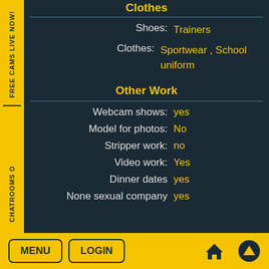Clothes
Shoes: Trainers
Clothes: Sportwear , School uniform
Other Work
Webcam shows: yes
Model for photos: No
Stripper work: no
Video work: Yes
Dinner dates yes
None sexual company yes
MENU  LOGIN